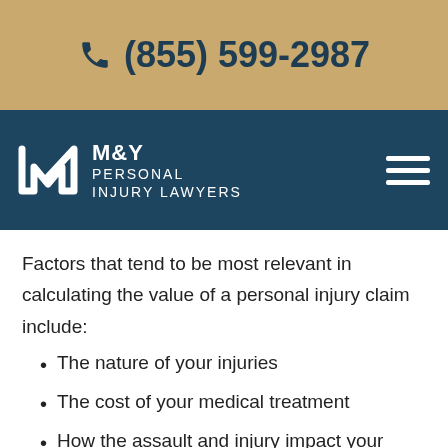(855) 599-2987
[Figure (logo): M&Y Personal Injury Lawyers logo with stylized MY monogram on dark teal background with hamburger menu icon]
Factors that tend to be most relevant in calculating the value of a personal injury claim include:
The nature of your injuries
The cost of your medical treatment
How the assault and injury impact your work, education, and quality of life